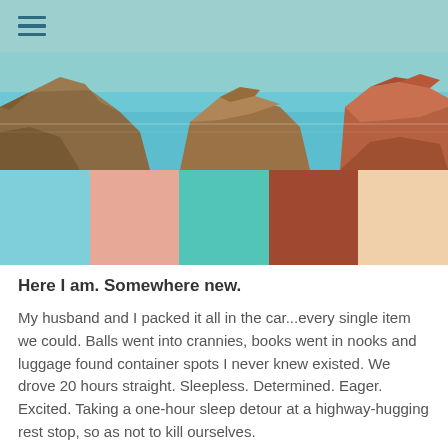[hamburger menu icon]
[Figure (photo): Rocky coastal seascape with large brown and red rock formations, turquoise ocean water, and hazy sky in the background]
[Figure (infographic): Five color swatches extracted from the photo: light blue, salmon/peach, teal/turquoise, terracotta/brownish-red, and light peach/beige]
Here I am. Somewhere new.
My husband and I packed it all in the car...every single item we could. Balls went into crannies, books went in nooks and luggage found container spots I never knew existed. We drove 20 hours straight. Sleepless. Determined. Eager. Excited. Taking a one-hour sleep detour at a highway-hugging rest stop, so as not to kill ourselves.